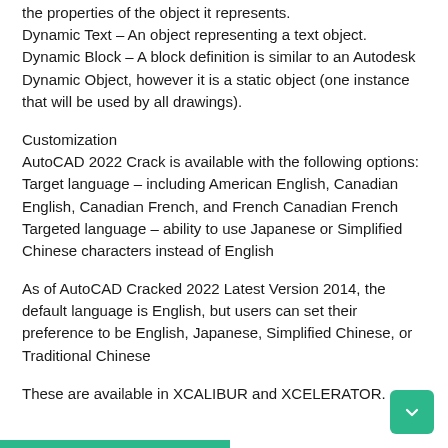the properties of the object it represents.
Dynamic Text – An object representing a text object.
Dynamic Block – A block definition is similar to an Autodesk Dynamic Object, however it is a static object (one instance that will be used by all drawings).
Customization
AutoCAD 2022 Crack is available with the following options:
Target language – including American English, Canadian English, Canadian French, and French Canadian French
Targeted language – ability to use Japanese or Simplified Chinese characters instead of English
As of AutoCAD Cracked 2022 Latest Version 2014, the default language is English, but users can set their preference to be English, Japanese, Simplified Chinese, or Traditional Chinese
These are available in XCALIBUR and XCELERATOR.